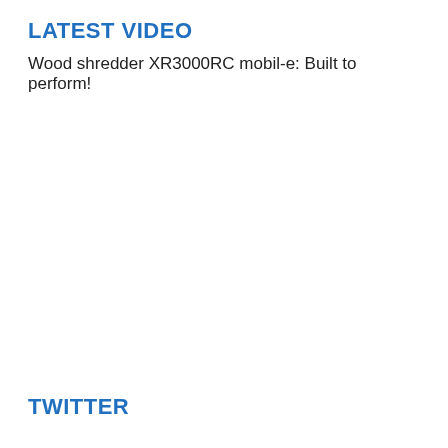LATEST VIDEO
Wood shredder XR3000RC mobil-e: Built to perform!
TWITTER